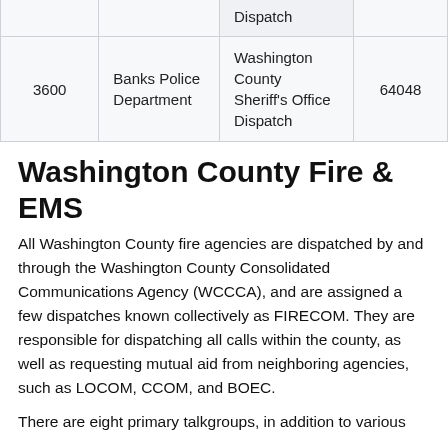|  |  | Dispatch |  |
| --- | --- | --- | --- |
| 3600 | Banks Police Department | Washington County Sheriff's Office Dispatch | 64048 |
Washington County Fire & EMS
All Washington County fire agencies are dispatched by and through the Washington County Consolidated Communications Agency (WCCCA), and are assigned a few dispatches known collectively as FIRECOM. They are responsible for dispatching all calls within the county, as well as requesting mutual aid from neighboring agencies, such as LOCOM, CCOM, and BOEC.
There are eight primary talkgroups, in addition to various